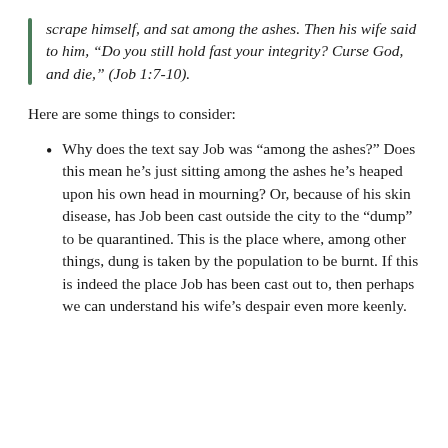scrape himself, and sat among the ashes. Then his wife said to him, “Do you still hold fast your integrity? Curse God, and die,” (Job 1:7-10).
Here are some things to consider:
Why does the text say Job was “among the ashes?” Does this mean he’s just sitting among the ashes he’s heaped upon his own head in mourning? Or, because of his skin disease, has Job been cast outside the city to the “dump” to be quarantined. This is the place where, among other things, dung is taken by the population to be burnt. If this is indeed the place Job has been cast out to, then perhaps we can understand his wife’s despair even more keenly.